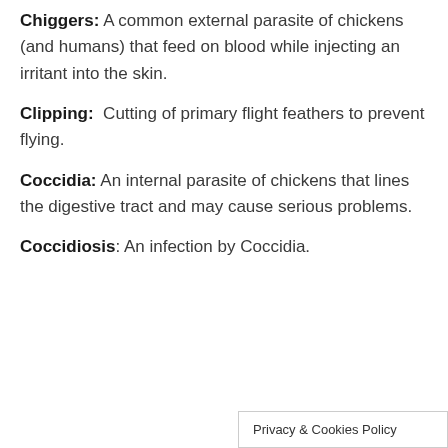Chiggers: A common external parasite of chickens (and humans) that feed on blood while injecting an irritant into the skin.
Clipping: Cutting of primary flight feathers to prevent flying.
Coccidia: An internal parasite of chickens that lines the digestive tract and may cause serious problems.
Coccidiosis: An infection by Coccidia.
Privacy & Cookies Policy